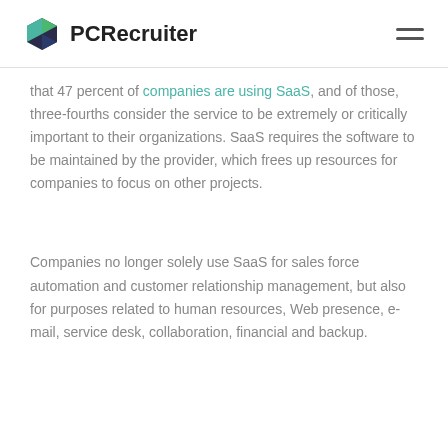PCRecruiter
that 47 percent of companies are using SaaS, and of those, three-fourths consider the service to be extremely or critically important to their organizations. SaaS requires the software to be maintained by the provider, which frees up resources for companies to focus on other projects.
Companies no longer solely use SaaS for sales force automation and customer relationship management, but also for purposes related to human resources, Web presence, e-mail, service desk, collaboration, financial and backup.
Although...